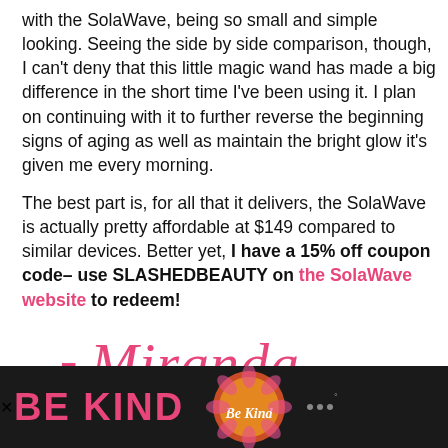with the SolaWave, being so small and simple looking. Seeing the side by side comparison, though, I can't deny that this little magic wand has made a big difference in the short time I've been using it. I plan on continuing with it to further reverse the beginning signs of aging as well as maintain the bright glow it's given me every morning.
The best part is, for all that it delivers, the SolaWave is actually pretty affordable at $149 compared to similar devices. Better yet, I have a 15% off coupon code– use SLASHEDBEAUTY on the SolaWave website to redeem!
[Figure (illustration): Handwritten cursive signature reading '- Miranda' in pink/coral script]
[Figure (other): Advertisement banner with dark background showing 'BE KIND' text in pink and a decorative floral graphic]